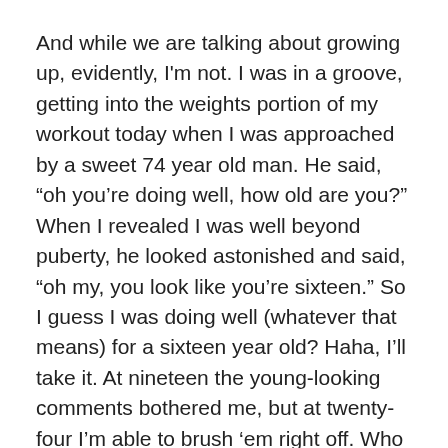And while we are talking about growing up, evidently, I'm not. I was in a groove, getting into the weights portion of my workout today when I was approached by a sweet 74 year old man. He said, “oh you’re doing well, how old are you?” When I revealed I was well beyond puberty, he looked astonished and said, “oh my, you look like you’re sixteen.” So I guess I was doing well (whatever that means) for a sixteen year old? Haha, I’ll take it. At nineteen the young-looking comments bothered me, but at twenty-four I’m able to brush ‘em right off. Who knows, maybe when I’m thirty-eight I’ll finally look twenty-four; wouldn’t that be fun!
Anyhow, I chatted with my new gym friend for twenty minutes about everything from his age, to his friend who qualified for the olympics in breast stroke the year that